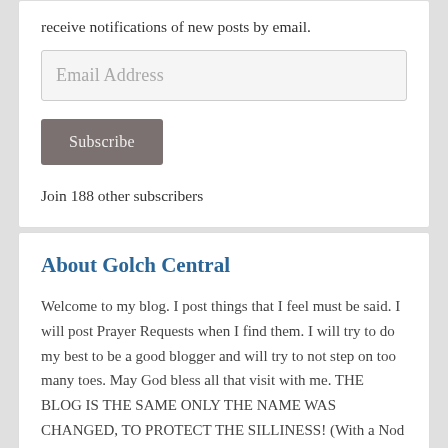receive notifications of new posts by email.
Email Address
Subscribe
Join 188 other subscribers
About Golch Central
Welcome to my blog. I post things that I feel must be said. I will post Prayer Requests when I find them. I will try to do my best to be a good blogger and will try to not step on too many toes. May God bless all that visit with me. THE BLOG IS THE SAME ONLY THE NAME WAS CHANGED, TO PROTECT THE SILLINESS! (With a Nod To Dragnet)